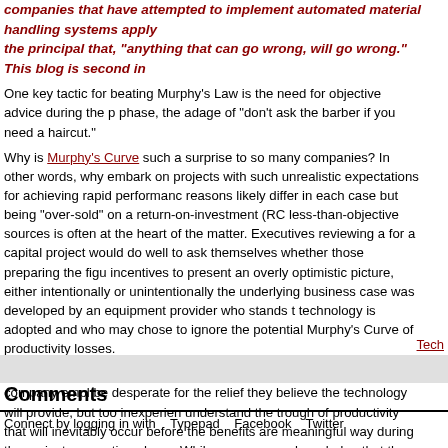companies that have attempted to implement automated material handling systems apply the principal that, "anything that can go wrong, will go wrong." This blog is second in
One key tactic for beating Murphy's Law is the need for objective advice during the planning phase, the adage of "don't ask the barber if you need a haircut."
Why is Murphy's Curve such a surprise to so many companies? In other words, why do companies embark on projects with such unrealistic expectations for achieving rapid performance gains? The reasons likely differ in each case but being "over-sold" on a return-on-investment (ROI) by less-than-objective sources is often at the heart of the matter. Executives reviewing a business case for a capital project would do well to ask themselves whether those preparing the figures had incentives to present an overly optimistic picture, either intentionally or unintentionally. For example, the underlying business case was developed by an equipment provider who stands to benefit if the technology is adopted and who may chose to ignore the potential Murphy's Curve of transitional productivity losses.
In another scenario, the business case may have been developed by company employees who may be desperate for the relief they believe the technology will provide, but too inexperienced to understand the trough of productivity that will inevitably occur before the benefits are realized in a meaningful way during the project concepting phase. While some may acknowledge the curve, assume that the curve will be short and performance will never be worse than the present (pre-change) and fail the project budget to account for Murphy's Curve. As a result, executives embark on
Tech
Comments
Connect by logging in with      Typepad      Facebook      Twitter